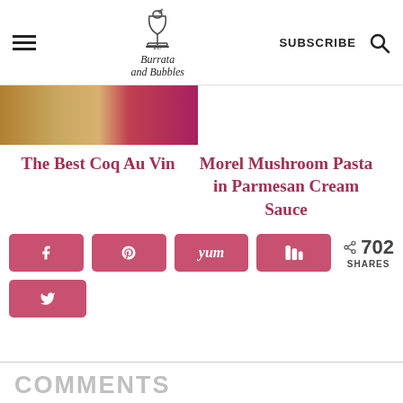Burrata and Bubbles | SUBSCRIBE
[Figure (photo): Partial image of food dish, warm tones with red/pink garnish]
The Best Coq Au Vin
Morel Mushroom Pasta in Parmesan Cream Sauce
[Figure (infographic): Social share buttons: Facebook, Pinterest, Yummly, Mix, Twitter. 702 SHARES]
COMMENTS